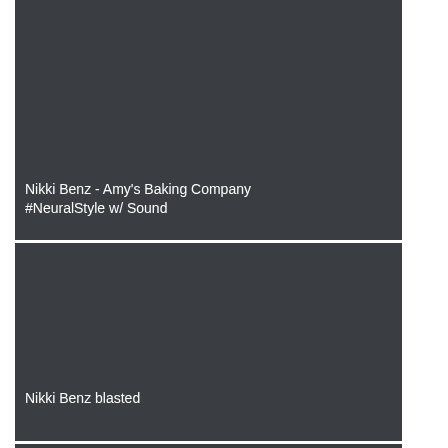[Figure (screenshot): Dark gray video thumbnail placeholder, top card]
Nikki Benz - Amy's Baking Company #NeuralStyle w/ Sound
[Figure (screenshot): Dark gray video thumbnail placeholder, second card]
Nikki Benz blasted
[Figure (screenshot): Dark gray video thumbnail placeholder, partial third card]